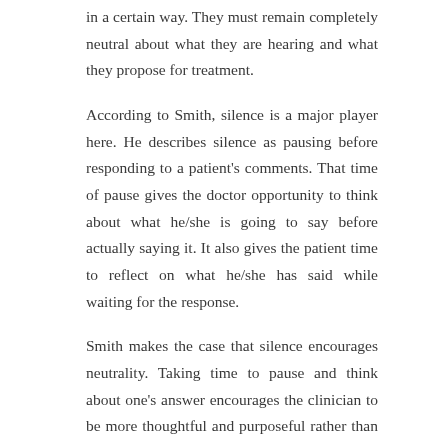in a certain way. They must remain completely neutral about what they are hearing and what they propose for treatment.
According to Smith, silence is a major player here. He describes silence as pausing before responding to a patient's comments. That time of pause gives the doctor opportunity to think about what he/she is going to say before actually saying it. It also gives the patient time to reflect on what he/she has said while waiting for the response.
Smith makes the case that silence encourages neutrality. Taking time to pause and think about one's answer encourages the clinician to be more thoughtful and purposeful rather than simply reacting. This helps to encourage neutrality.